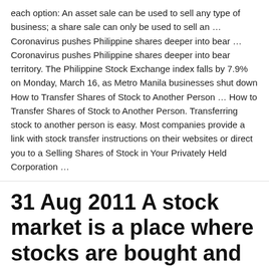each option: An asset sale can be used to sell any type of business; a share sale can only be used to sell an … Coronavirus pushes Philippine shares deeper into bear … Coronavirus pushes Philippine shares deeper into bear territory. The Philippine Stock Exchange index falls by 7.9% on Monday, March 16, as Metro Manila businesses shut down How to Transfer Shares of Stock to Another Person … How to Transfer Shares of Stock to Another Person. Transferring stock to another person is easy. Most companies provide a link with stock transfer instructions on their websites or direct you to a Selling Shares of Stock in Your Privately Held Corporation …
31 Aug 2011 A stock market is a place where stocks are bought and sold. The Philippine stock market is the place where people